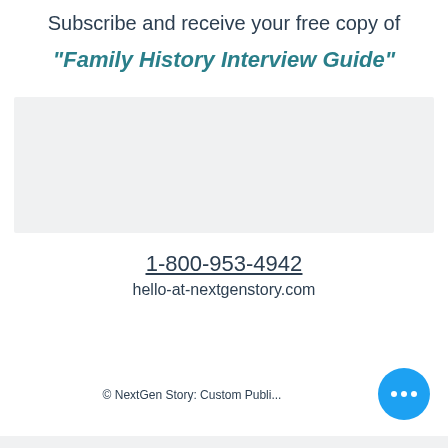Subscribe and receive your free copy of
"Family History Interview Guide"
[Figure (other): Light gray rectangular placeholder box]
1-800-953-4942
hello-at-nextgenstory.com
© NextGen Story: Custom Publi...